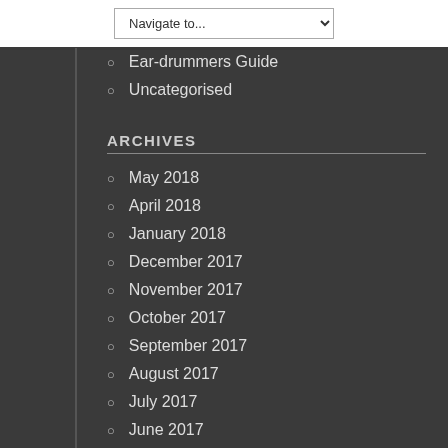Navigate to...
Ear-drummers Guide
Uncategorised
ARCHIVES
May 2018
April 2018
January 2018
December 2017
November 2017
October 2017
September 2017
August 2017
July 2017
June 2017